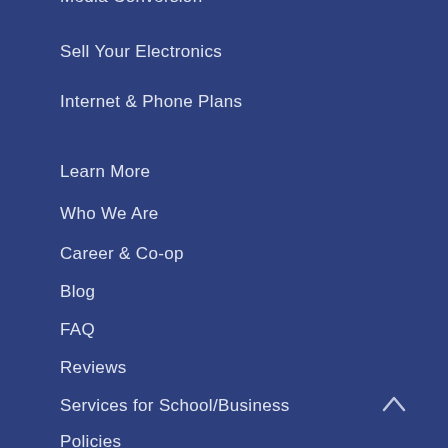Media Conversion
Sell Your Electronics
Internet & Phone Plans
Learn More
Who We Are
Career & Co-op
Blog
FAQ
Reviews
Services for School/Business
Policies